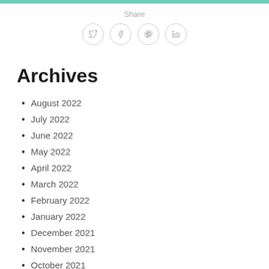[Figure (other): Social share section with label 'Share' and four circular icon buttons for Twitter, Facebook, Pinterest, and LinkedIn]
Archives
August 2022
July 2022
June 2022
May 2022
April 2022
March 2022
February 2022
January 2022
December 2021
November 2021
October 2021
September 2021
August 2021